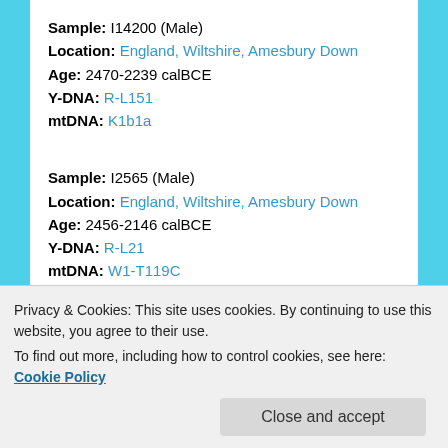Sample: I14200 (Male)
Location: England, Wiltshire, Amesbury Down
Age: 2470-2239 calBCE
Y-DNA: R-L151
mtDNA: K1b1a
Sample: I2565 (Male)
Location: England, Wiltshire, Amesbury Down
Age: 2456-2146 calBCE
Y-DNA: R-L21
mtDNA: W1-T119C
Sample: I2419 (Female)
Location: England, Wiltshire, Amesbury Down
Age: 2393-2144 calBCE
mtDNA: H
Privacy & Cookies: This site uses cookies. By continuing to use this website, you agree to their use. To find out more, including how to control cookies, see here: Cookie Policy